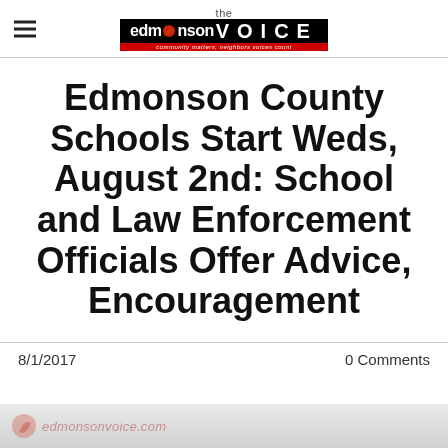the Edmonson VOICE
Edmonson County Schools Start Weds, August 2nd: School and Law Enforcement Officials Offer Advice, Encouragement
8/1/2017
0 Comments
[Figure (logo): Edmonson Voice watermark at bottom of page]